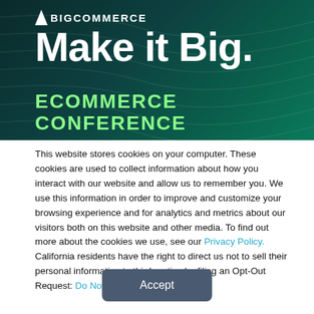[Figure (illustration): BigCommerce 'Make it Big. Ecommerce Conference' banner with dark teal background and wave pattern. Logo at top left, large white bold 'Make it Big.' text, green 'ECOMMERCE CONFERENCE' text below.]
This website stores cookies on your computer. These cookies are used to collect information about how you interact with our website and allow us to remember you. We use this information in order to improve and customize your browsing experience and for analytics and metrics about our visitors both on this website and other media. To find out more about the cookies we use, see our Privacy Policy. California residents have the right to direct us not to sell their personal information to third parties by filing an Opt-Out Request: Do Not Sell My Personal Info.
Accept